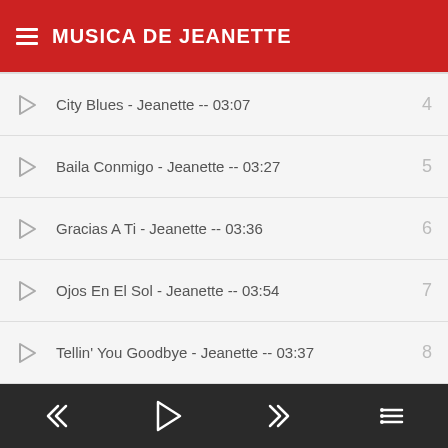MUSICA DE JEANETTE
City Blues - Jeanette -- 03:07  4
Baila Conmigo - Jeanette -- 03:27  5
Gracias A Ti - Jeanette -- 03:36  6
Ojos En El Sol - Jeanette -- 03:54  7
Tellin' You Goodbye - Jeanette -- 03:37  8
The Way It Used to Be - Jeanette -- 02:35  9
It Be... (partial)  10